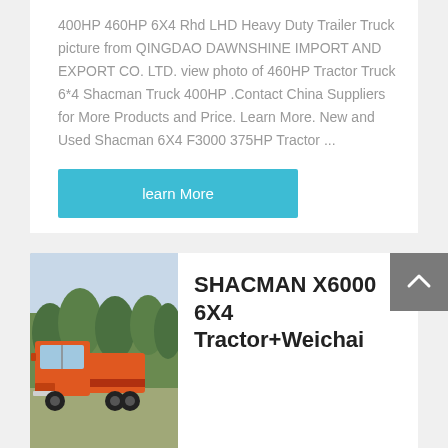400HP 460HP 6X4 Rhd LHD Heavy Duty Trailer Truck picture from QINGDAO DAWNSHINE IMPORT AND EXPORT CO. LTD. view photo of 460HP Tractor Truck 6*4 Shacman Truck 400HP .Contact China Suppliers for More Products and Price. Learn More. New and Used Shacman 6X4 F3000 375HP Tractor ...
learn More
[Figure (photo): Orange Shacman heavy duty tractor truck parked outdoors with trees in background]
SHACMAN X6000 6X4 Tractor+Weichai